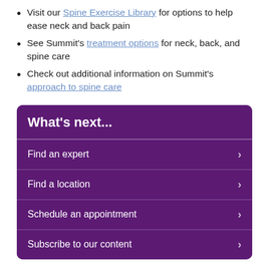Visit our Spine Exercise Library for options to help ease neck and back pain
See Summit's treatment options for neck, back, and spine care
Check out additional information on Summit's approach to spine care
What's next...
Find an expert
Find a location
Schedule an appointment
Subscribe to our content
Share this on: